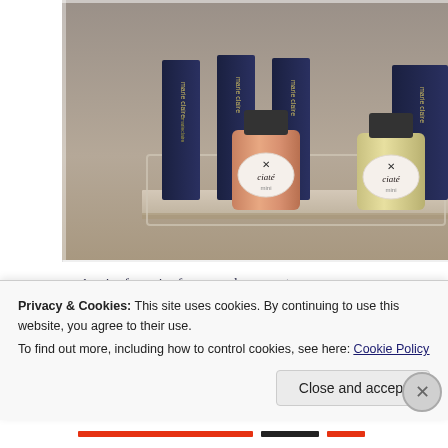[Figure (photo): Photo of Ciaté nail polish bottles (mini size, rose/peach and yellow/cream colors) in a clear acrylic display tray with Marie Claire branded dark packaging in the background, on a light gray/beige surface.]
A pair of sunnies from sunglassesspot.c...
A Sephora brand eyeshadow palette...
Privacy & Cookies: This site uses cookies. By continuing to use this website, you agree to their use.
To find out more, including how to control cookies, see here: Cookie Policy
Close and accept